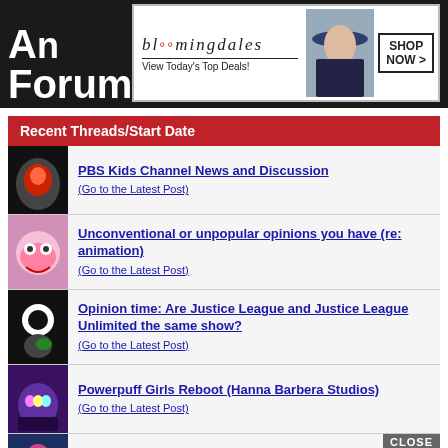An Forums
[Figure (illustration): Bloomingdales advertisement banner - top. Shows bloomingdales logo, 'View Today's Top Deals!' tagline, woman with hat photo, and SHOP NOW > button.]
Recent Threads/Start Date
PBS Kids Channel News and Discussion (Go to the Latest Post)
Unconventional or unpopular opinions you have (re: animation) (Go to the Latest Post)
Opinion time: Are Justice League and Justice League Unlimited the same show? (Go to the Latest Post)
Powerpuff Girls Reboot (Hanna Barbera Studios) (Go to the Latest Post)
[Figure (illustration): Bloomingdales advertisement banner - bottom. Shows bloomingdales logo, 'View Today's Top Deals!' tagline, woman with hat photo, CLOSE button, and SHOP NOW > button.]